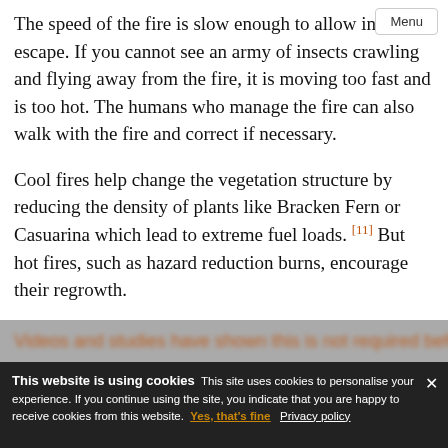The speed of the fire is slow enough to allow insects to escape. If you cannot see an army of insects crawling and flying away from the fire, it is moving too fast and is too hot. The humans who manage the fire can also walk with the fire and correct if necessary.
Cool fires help change the vegetation structure by reducing the density of plants like Bracken Fern or Casuarina which lead to extreme fuel loads. [11] But hot fires, such as hazard reduction burns, encourage their regrowth.
Aboriginal people who execute cool fires usually stay with the fire to manage it. [11]
[blurred/obscured text bar]
This website is using cookies This site uses cookies to personalise your experience. If you continue using the site, you indicate that you are happy to receive cookies from this website. Yes, that's fine Privacy policy